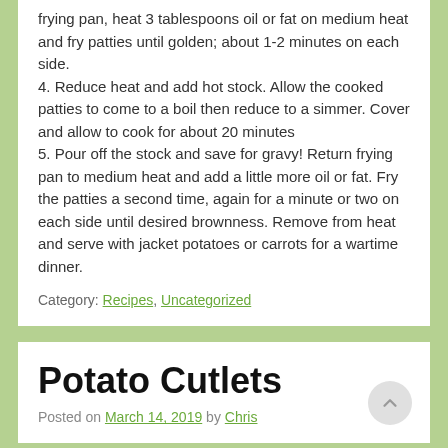frying pan, heat 3 tablespoons oil or fat on medium heat and fry patties until golden; about 1-2 minutes on each side.
4. Reduce heat and add hot stock. Allow the cooked patties to come to a boil then reduce to a simmer. Cover and allow to cook for about 20 minutes
5. Pour off the stock and save for gravy! Return frying pan to medium heat and add a little more oil or fat. Fry the patties a second time, again for a minute or two on each side until desired brownness. Remove from heat and serve with jacket potatoes or carrots for a wartime dinner.
Category: Recipes, Uncategorized
Potato Cutlets
Posted on March 14, 2019 by Chris